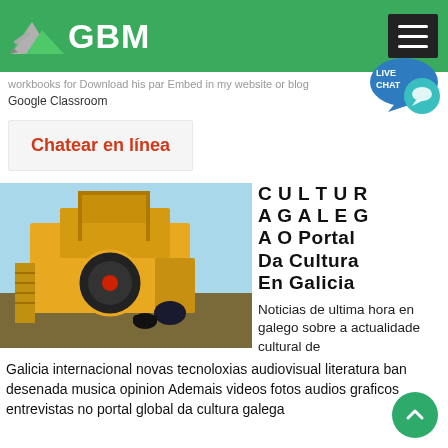GBM
workbooks for Download his par Embed in my website or blog Google Classroom
[Figure (logo): Live chat bubble icon with text LIVE CHAT]
Chatear en línea
[Figure (photo): Yellow industrial jaw crusher machine on outdoor site with blue sky background]
CULTURA GALEGA O Portal Da Cultura En Galicia
Noticias de ultima hora en galego sobre a actualidade cultural de
Galicia internacional novas tecnoloxias audiovisual literatura banda desenada musica opinion Ademais videos fotos audios graficos entrevistas no portal global da cultura galega